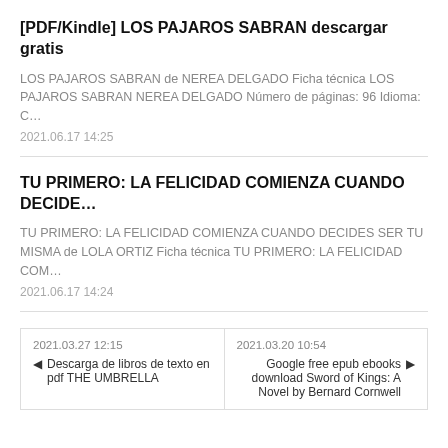[PDF/Kindle] LOS PAJAROS SABRAN descargar gratis
LOS PAJAROS SABRAN de NEREA DELGADO Ficha técnica LOS PAJAROS SABRAN NEREA DELGADO Número de páginas: 96 Idioma: C…
2021.06.17 14:25
TU PRIMERO: LA FELICIDAD COMIENZA CUANDO DECIDE…
TU PRIMERO: LA FELICIDAD COMIENZA CUANDO DECIDES SER TU MISMA de LOLA ORTIZ Ficha técnica TU PRIMERO: LA FELICIDAD COM…
2021.06.17 14:24
2021.03.27 12:15
Descarga de libros de texto en pdf THE UMBRELLA
2021.03.20 10:54
Google free epub ebooks download Sword of Kings: A Novel by Bernard Cornwell